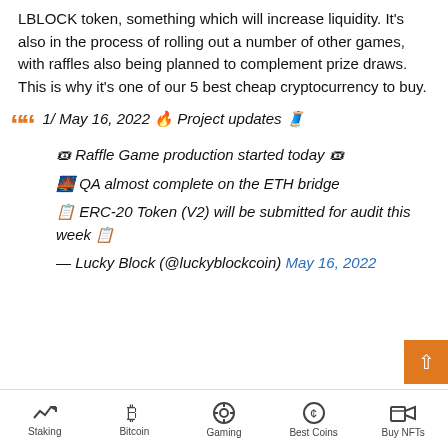LBLOCK token, something which will increase liquidity. It's also in the process of rolling out a number of other games, with raffles also being planned to complement prize draws. This is why it's one of our 5 best cheap cryptocurrency to buy.
1/ May 16, 2022 🔥 Project updates 🧵
🎟 Raffle Game production started today 🎟
🌉 QA almost complete on the ETH bridge
📋 ERC-20 Token (V2) will be submitted for audit this week 📋
— Lucky Block (@luckyblockcoin) May 16, 2022
Staking | Bitcoin | Gaming | Best Coins | Buy NFTs